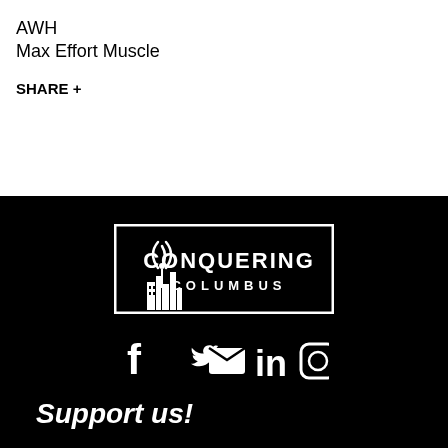AWH
Max Effort Muscle
SHARE +
[Figure (logo): Conquering Columbus logo — white rectangular border with city skyline silhouette and radio tower icon, text reads CONQUERING COLUMBUS]
[Figure (infographic): Social media icons: Facebook, Twitter, Email, LinkedIn, Instagram — all white on black background]
Support us!